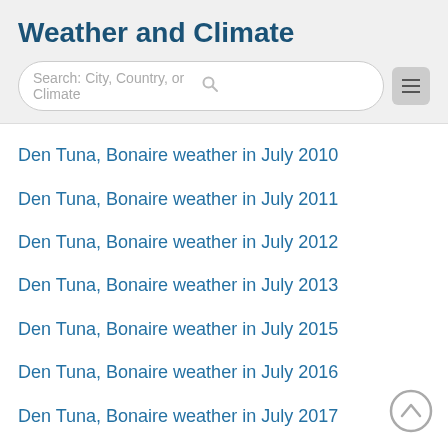Weather and Climate
[Figure (other): Search bar with placeholder text 'Search: City, Country, or Climate' and a hamburger menu button]
Den Tuna, Bonaire weather in July 2010
Den Tuna, Bonaire weather in July 2011
Den Tuna, Bonaire weather in July 2012
Den Tuna, Bonaire weather in July 2013
Den Tuna, Bonaire weather in July 2015
Den Tuna, Bonaire weather in July 2016
Den Tuna, Bonaire weather in July 2017
Den Tuna, Bonaire weather in July 2018
Den Tuna, Bonaire weather in July 2019